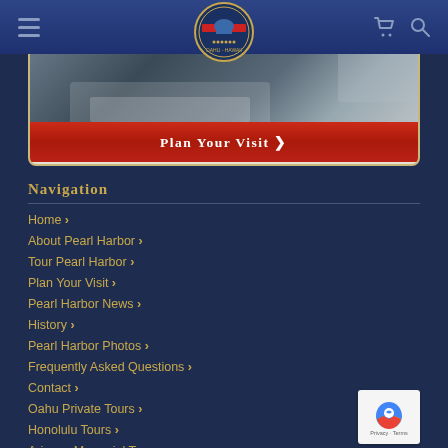Pearl Harbor navigation header with hamburger menu, logo, cart and search icons
[Figure (screenshot): Pearl Harbor memorial/ship hero image with red Plan Your Visit button below]
Navigation
Home ›
About Pearl Harbor ›
Tour Pearl Harbor ›
Plan Your Visit ›
Pearl Harbor News ›
History ›
Pearl Harbor Photos ›
Frequently Asked Questions ›
Contact ›
Oahu Private Tours ›
Honolulu Tours ›
Arizona Memorial Tours ›
Pacific Aviation Museum ›
Tickets to Pearl Harbor ›